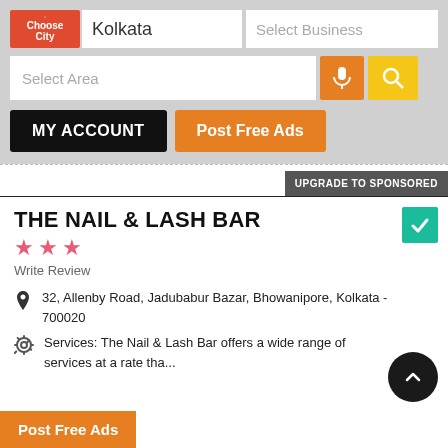[Figure (screenshot): Mobile app UI header with Choose City button (red), Kolkata city input, Select Business input, Select Area input with microphone and search icons]
MY ACCOUNT
Post Free Ads
UPGRADE TO SPONSORED
THE NAIL & LASH BAR
Write Review
32, Allenby Road, Jadubabur Bazar, Bhowanipore, Kolkata - 700020
Services: The Nail & Lash Bar offers a wide range of services at a rate tha...
Post Free Ads